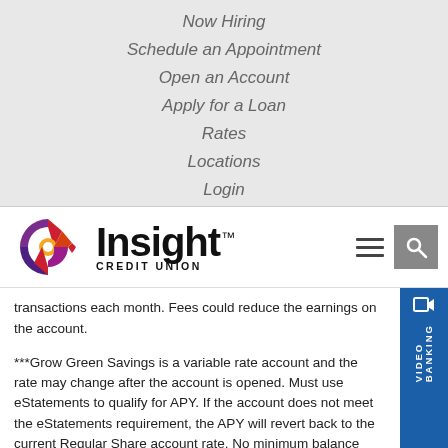Now Hiring
Schedule an Appointment
Open an Account
Apply for a Loan
Rates
Locations
Login
[Figure (logo): Insight Credit Union logo with colorful circular emblem and bold black text]
transactions each month. Fees could reduce the earnings on the account.
***Grow Green Savings is a variable rate account and the rate may change after the account is opened. Must use eStatements to qualify for APY. If the account does not meet the eStatements requirement, the APY will revert back to the current Regular Share account rate. No minimum balance required to earn APY. Fees could reduce the earnings on the account.